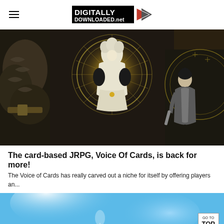DIGITALLY DOWNLOADED.net
[Figure (illustration): Anime/JRPG card art showing fantastical characters including a white-robed angelic figure with a glowing halo-like circle, a dark armored dragon-like creature on the left, and a dark-haired character on the right, with ornate clock-like decorative elements, sepia and dark tones.]
The card-based JRPG, Voice Of Cards, is back for more!
The Voice of Cards has really carved out a niche for itself by offering players an...
[Figure (illustration): Blue-toned fantasy game artwork showing a bright blue sky and glowing light effects with a figure or creature barely visible.]